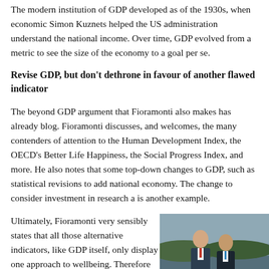The modern institution of GDP developed as of the 1930s, when economic Simon Kuznets helped the US administration understand the national income. Over time, GDP evolved from a metric to see the size of the economy to a goal per se.
Revise GDP, but don't dethrone in favour of another flawed indicator
The beyond GDP argument that Fioramonti also makes has already blog. Fioramonti discusses, and welcomes, the many contenders of attention to the Human Development Index, the OECD's Better Life Happiness, the Social Progress Index, and more. He also notes that some top-down changes to GDP, such as statistical revisions to add national economy. The change to consider investment in research a is another example.
Ultimately, Fioramonti very sensibly states that all those alternative indicators, like GDP itself, only display one approach to wellbeing. Therefore he speaks out against replacing GDP by another, again inherently subjective and
[Figure (photo): Photo of two men in suits standing outdoors near water, likely politicians or economists]